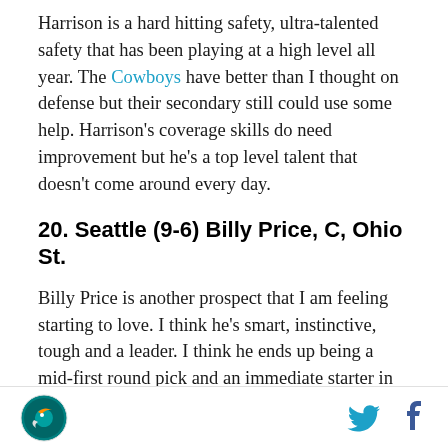Harrison is a hard hitting safety, ultra-talented safety that has been playing at a high level all year. The Cowboys have better than I thought on defense but their secondary still could use some help. Harrison's coverage skills do need improvement but he's a top level talent that doesn't come around every day.
20. Seattle (9-6) Billy Price, C, Ohio St.
Billy Price is another prospect that I am feeling starting to love. I think he's smart, instinctive, tough and a leader. I think he ends up being a mid-first round pick and an immediate starter in the NFL. Seattle is not as good as they once were and their O-line has not been good. Price would be a fantastic addition here and a smart move to bring in some protection for Russell
Dolphins logo | Twitter icon | Facebook icon